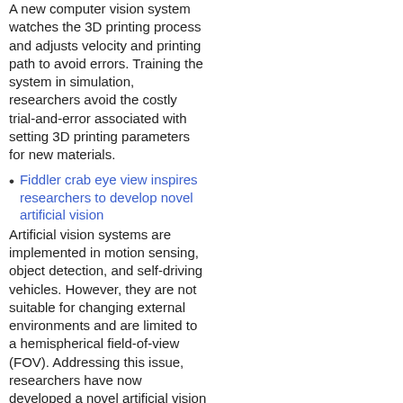A new computer vision system watches the 3D printing process and adjusts velocity and printing path to avoid errors. Training the system in simulation, researchers avoid the costly trial-and-error associated with setting 3D printing parameters for new materials.
Fiddler crab eye view inspires researchers to develop novel artificial vision
Artificial vision systems are implemented in motion sensing, object detection, and self-driving vehicles. However, they are not suitable for changing external environments and are limited to a hemispherical field-of-view (FOV). Addressing this issue, researchers have now developed a novel artificial vision with 360-degree FOV that can image both terrestrial and aquatic environments. The system, modeled [...]
How to help assembly-line robots shift gears and pick up almost anything
A University of Washington team created a new tool that can design a 3D-printable passive gripper and calculate the best path to pick up an object. The team tested this system on a suite of 22 objects -- including a 3D-printed bunny, a doorstop-shaped wedge, a tennis ball and a drill.
Using AI to train teams of robots to...